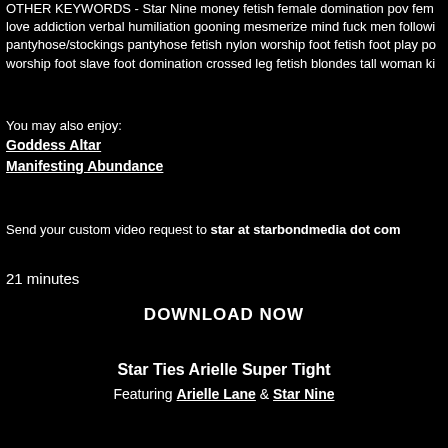OTHER KEYWORDS - Star Nine money fetish female domination pov fem love addiction verbal humiliation gooning mesmerize mind fuck men following pantyhose/stockings pantyhose fetish nylon worship foot fetish foot play po worship foot slave foot domination crossed leg fetish blondes tall woman ki
You may also enjoy:
Goddess Altar
Manifesting Abundance
Send your custom video request to star at starbondmedia dot com
21 minutes
DOWNLOAD NOW
Star Ties Arielle Super Tight
Featuring Arielle Lane & Star Nine